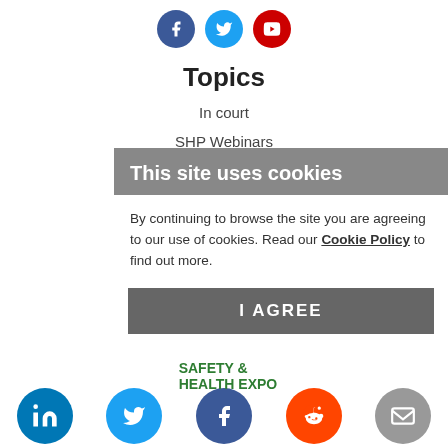[Figure (illustration): Three social media icon circles at top: Facebook (dark blue), Twitter (light blue), YouTube (red)]
Topics
In court
SHP Webinars
Safety & Health Expo
Legislation Special
Coronavirus
[Figure (screenshot): Cookie consent dialog overlay with grey header 'This site uses cookies', white body with text 'By continuing to browse the site you are agreeing to our use of cookies. Read our Cookie Policy to find out more.' and a dark grey 'I AGREE' button]
[Figure (logo): Safety & Health Expo logo in green text, overlapping social media icons (LinkedIn, Twitter, Facebook, Reddit, Email) at the bottom of the page]